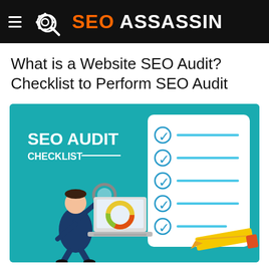SEO ASSASSIN
What is a Website SEO Audit? Checklist to Perform SEO Audit
[Figure (infographic): SEO Audit Checklist infographic on teal background. Left side shows text 'SEO AUDIT CHECKLIST' with a cartoon businessman holding a magnifying glass over a laptop displaying a donut chart. Right side shows a white checklist card with 6 blue checkmarks and horizontal lines, with a yellow pencil overlapping the bottom right.]